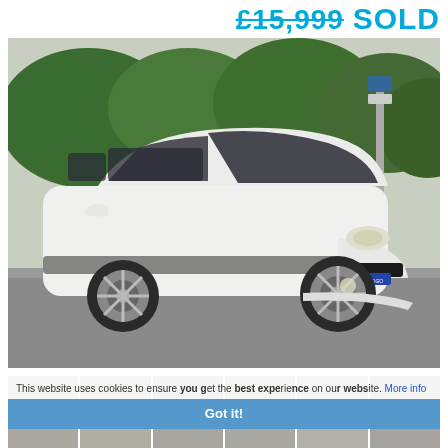£15,999 SOLD
[Figure (photo): White Toyota Estima minivan parked on a road, front three-quarter view, with trees and a street pole in the background.]
[Figure (photo): Row of vehicle thumbnail images showing various angles of the same white Toyota Estima minivan.]
This website uses cookies to ensure you get the best experience on our website. More info
Got it!